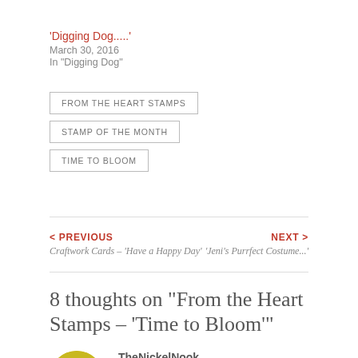'Digging Dog.....'
March 30, 2016
In "Digging Dog"
FROM THE HEART STAMPS
STAMP OF THE MONTH
TIME TO BLOOM
< PREVIOUS
Craftwork Cards – 'Have a Happy Day'
NEXT >
'Jeni's Purrfect Costume...'
8 thoughts on "From the Heart Stamps – 'Time to Bloom'"
TheNickelNook
APRIL 16, 2016 AT 12:25 PM